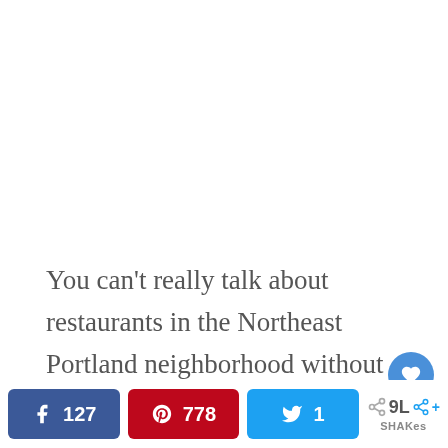You can't really talk about restaurants in the Northeast Portland neighborhood without mentioning Beast. This James Beard Award-winning restaurant is owned by Naomi
[Figure (infographic): Social share bar with Facebook (127 shares), Pinterest (778 shares), Twitter (1 share), and a generic share button with count 9L and label SHAKes]